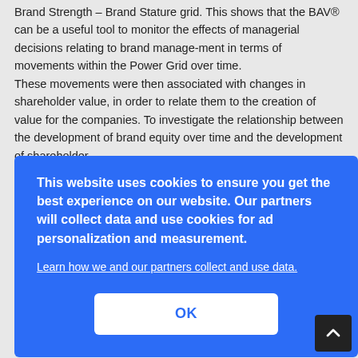Brand Strength – Brand Stature grid. This shows that the BAV® can be a useful tool to monitor the effects of managerial decisions relating to brand management in terms of movements within the Power Grid over time. These movements were then associated with changes in shareholder value, in order to relate them to the creation of value for the companies. To investigate the relationship between the development of brand equity over time and the development of shareholder
[Figure (screenshot): Cookie consent overlay dialog in blue with white text reading 'This website uses cookies to ensure you get the best experience on our website. Our partners will collect data and use cookies for ad personalization and measurement.' with a 'Learn how we and our partners collect and use data.' link and an OK button.]
decrease/increase in the BAV® indicators and share-